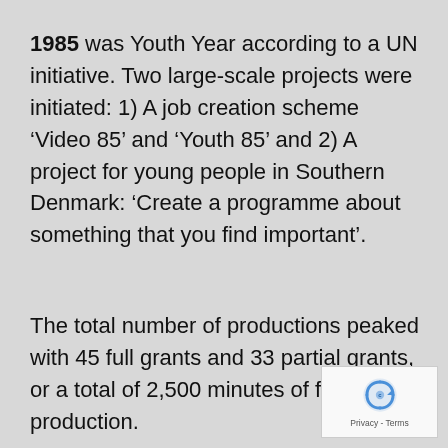1985 was Youth Year according to a UN initiative. Two large-scale projects were initiated: 1) A job creation scheme ‘Video 85’ and ‘Youth 85’ and 2) A project for young people in Southern Denmark: ‘Create a programme about something that you find important’.
The total number of productions peaked with 45 full grants and 33 partial grants, or a total of 2,500 minutes of finished production.
[Figure (logo): reCAPTCHA logo with Privacy - Terms label]